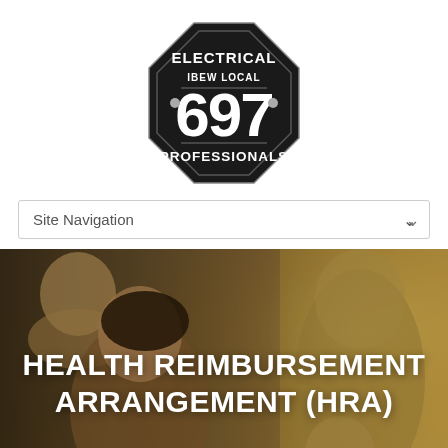[Figure (logo): IBEW Local 697 Electrical Professionals octagonal badge logo in black with white text and the number 697]
Site Navigation
[Figure (photo): Happy family with mother, father, and two children smiling outdoors with warm golden light]
HEALTH REIMBURSEMENT ARRANGEMENT (HRA)